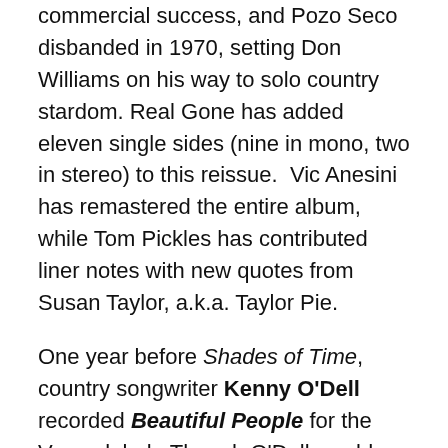commercial success, and Pozo Seco disbanded in 1970, setting Don Williams on his way to solo country stardom. Real Gone has added eleven single sides (nine in mono, two in stereo) to this reissue. Vic Anesini has remastered the entire album, while Tom Pickles has contributed liner notes with new quotes from Susan Taylor, a.k.a. Taylor Pie.
One year before Shades of Time, country songwriter Kenny O'Dell recorded Beautiful People for the Vegas label. Though O'Dell would later gain fame writing for artists including Charlie Rich and The Judds, Beautiful People was less country and more pop-psych, even yielding a Top 40 hit with the title track. Real Gone's reissue adds seven bonus tracks from O'Dell's brief tenure with the Vegas and White Whale labels, and also includes O'Dell's only other Top 40 hit, "Springfield Plane." Ed